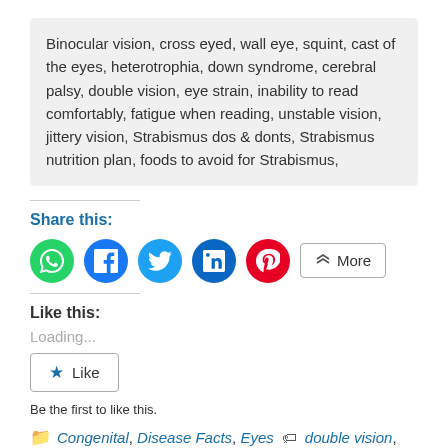Binocular vision, cross eyed, wall eye, squint, cast of the eyes, heterotrophia, down syndrome, cerebral palsy, double vision, eye strain, inability to read comfortably, fatigue when reading, unstable vision, jittery vision, Strabismus dos & donts, Strabismus nutrition plan, foods to avoid for Strabismus,
Share this:
[Figure (infographic): Social share buttons: WhatsApp (green circle), Facebook (blue circle), Twitter (light blue circle), LinkedIn (dark blue circle), Pinterest (red circle), and a More button]
Like this:
Loading...
[Figure (infographic): Like button with star icon]
Be the first to like this.
Congenital, Disease Facts, Eyes   double vision, eye strain, Strabismus